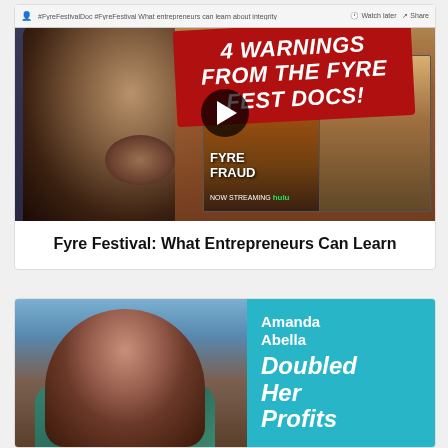[Figure (screenshot): YouTube video thumbnail showing a man with fist raised, overlaid with a red diagonal banner reading '4 WARNINGS FROM THE FYRE FEST DOCS!', with Fyre Fraud and Fyre documentary posters in the background]
Fyre Festival: What Entrepreneurs Can Learn
[Figure (photo): Card showing Amanda Abella standing outdoors with a coastal city background, next to teal panel with text 'Amanda Abella Doubled Her Profits']